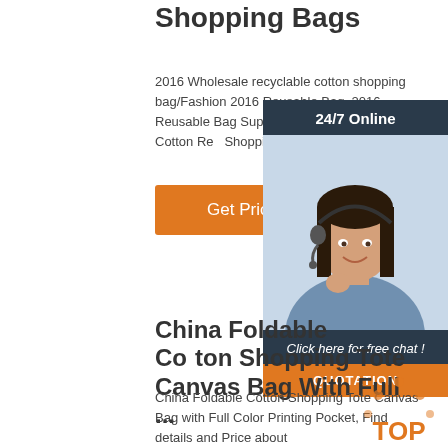Shopping Bags
2016 Wholesale recyclable cotton shopping bag/Fashion 2016 Reusable Bag, 2016 Reusable Bag Suppliers and 2016 Fashion Cotton Reusable Shopping Bag For Shopping
[Figure (other): Orange 'Get Price' button]
[Figure (other): 24/7 Online chat widget with customer service agent photo, 'Click here for free chat!' text, and orange QUOTATION button]
China Foldable Cotton Shopping Tote Canvas Bag With Full ...
China Foldable Cotton Shopping Tote Canvas Bag with Full Color Printing Pocket, Find details and Price about
[Figure (logo): TOP badge logo with orange dots and text]